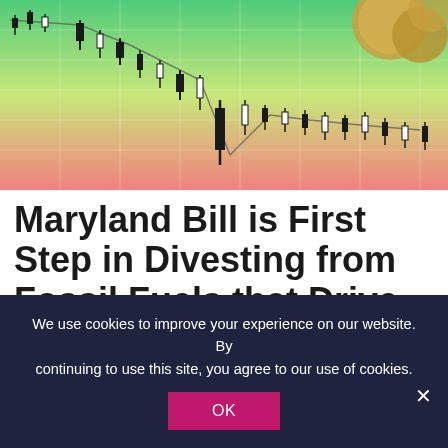[Figure (photo): Stock market candlestick chart with green-to-red gradient background and coins in top right corner]
Maryland Bill is First Step in Divesting from Fossil Fuels that Drive Climate Risk and Sacrifice State Employee
We use cookies to improve your experience on our website. By continuing to use this site, you agree to our use of cookies.